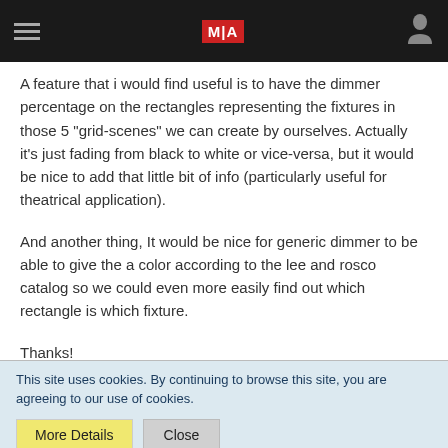MA (logo) | hamburger menu | user icon
A feature that i would find useful is to have the dimmer percentage on the rectangles representing the fixtures in those 5 "grid-scenes" we can create by ourselves. Actually it's just fading from black to white or vice-versa, but it would be nice to add that little bit of info (particularly useful for theatrical application).
And another thing, It would be nice for generic dimmer to be able to give the a color according to the lee and rosco catalog so we could even more easily find out which rectangle is which fixture.
Thanks!
This site uses cookies. By continuing to browse this site, you are agreeing to our use of cookies.